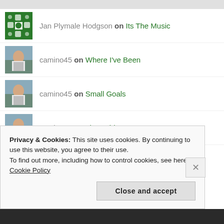[Figure (photo): Avatar of Jan Plymale Hodgson — green decorative tile pattern]
Jan Plymale Hodgson on Its The Music
[Figure (photo): Avatar of camino45 — woman in white jacket outdoors]
camino45 on Where I've Been
[Figure (photo): Avatar of camino45 — woman in white jacket outdoors]
camino45 on Small Goals
[Figure (photo): Avatar of camino45 — woman in white jacket outdoors]
camino45 on The Spider
ARCHIVES
Privacy & Cookies: This site uses cookies. By continuing to use this website, you agree to their use. To find out more, including how to control cookies, see here: Cookie Policy
Close and accept